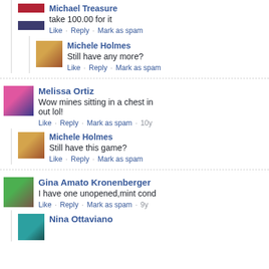[Figure (screenshot): Facebook comment section screenshot showing multiple user comments]
Michael Treasure
take 100.00 for it
Like · Reply · Mark as spam
Michele Holmes
Still have any more?
Like · Reply · Mark as spam
Melissa Ortiz
Wow mines sitting in a chest in out lol!
Like · Reply · Mark as spam · 10y
Michele Holmes
Still have this game?
Like · Reply · Mark as spam
Gina Amato Kronenberger
I have one unopened,mint cond
Like · Reply · Mark as spam · 9y
Nina Ottaviano